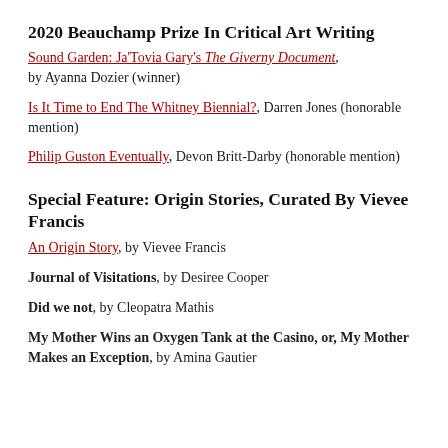2020 Beauchamp Prize In Critical Art Writing
Sound Garden: Ja'Tovia Gary's The Giverny Document, by Ayanna Dozier (winner)
Is It Time to End The Whitney Biennial?, Darren Jones (honorable mention)
Philip Guston Eventually, Devon Britt-Darby (honorable mention)
Special Feature: Origin Stories, Curated By Vievee Francis
An Origin Story, by Vievee Francis
Journal of Visitations, by Desiree Cooper
Did we not, by Cleopatra Mathis
My Mother Wins an Oxygen Tank at the Casino, or, My Mother Makes an Exception, by Amina Gautier